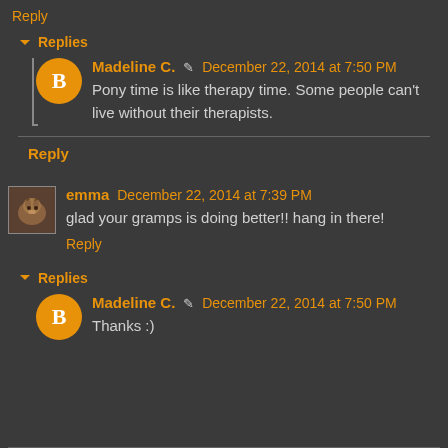Reply
▼ Replies
Madeline C. ✏ December 22, 2014 at 7:50 PM
Pony time is like therapy time. Some people can't live without their therapists.
Reply
emma December 22, 2014 at 7:39 PM
glad your gramps is doing better!! hang in there!
Reply
▼ Replies
Madeline C. ✏ December 22, 2014 at 7:50 PM
Thanks :)